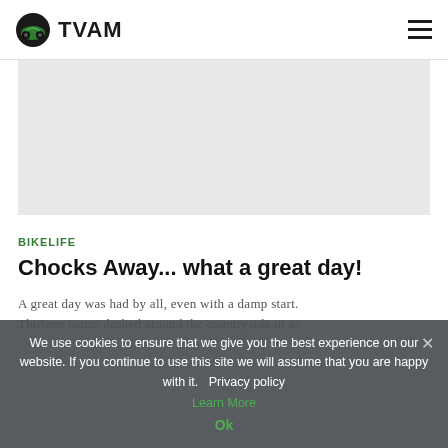TVAM
[Figure (photo): Hero image area showing a grey placeholder for a motorcycle or outdoor scene]
BIKELIFE
Chocks Away... what a great day!
A great day was had by all, even with a damp start. Thirteen teams dashed around the countryside in an
We use cookies to ensure that we give you the best experience on our website. If you continue to use this site we will assume that you are happy with it.  Privacy policy
Learn More
Ok